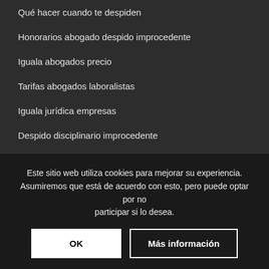Qué hacer cuando te despiden
Honorarios abogado despido improcedente
Iguala abogados precio
Tarifas abogados laboralistas
Iguala jurídica empresas
Despido disciplinario improcedente
AVISO LEGAL
Aviso Legal
Política de privacidad
Política de cookies
Este sitio web utiliza cookies para mejorar su experiencia. Asumiremos que está de acuerdo con esto, pero puede optar por no participar si lo desea.